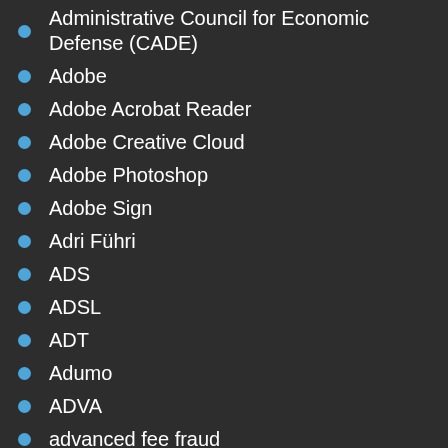Administrative Council for Economic Defense (CADE)
Adobe
Adobe Acrobat Reader
Adobe Creative Cloud
Adobe Photoshop
Adobe Sign
Adri Führi
ADS
ADSL
ADT
Adumo
ADVA
advanced fee fraud
advanced persistent threat (APT)
Advertisements